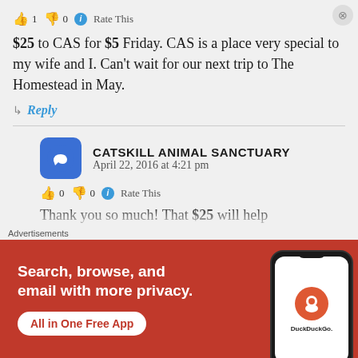👍 1 👎 0 ℹ Rate This
$25 to CAS for $5 Friday. CAS is a place very special to my wife and I. Can't wait for our next trip to The Homestead in May.
↳ Reply
CATSKILL ANIMAL SANCTUARY
April 22, 2016 at 4:21 pm
👍 0 👎 0 ℹ Rate This
Thank you so much! That $25 will help
[Figure (screenshot): DuckDuckGo advertisement banner with orange/red background, phone mockup, showing 'Search, browse, and email with more privacy. All in One Free App' and DuckDuckGo logo]
Advertisements